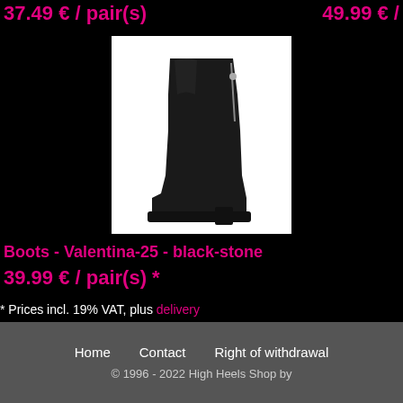37.49 € / pair(s)
49.99 € /
[Figure (photo): Black high-heel ankle boot with crocodile pattern and side zipper on white background]
Boots - Valentina-25 - black-stone
39.99 € / pair(s) *
* Prices incl. 19% VAT, plus delivery
Browse these categories as well: High Heels PLATEAU, High-Heels BO
Home   Contact   Right of withdrawal
© 1996 - 2022 High Heels Shop by